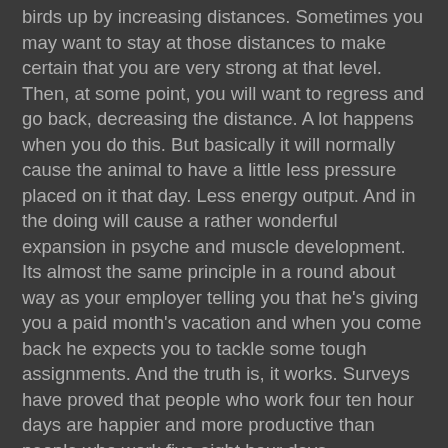birds up by increasing distances. Sometimes you may want to stay at those distances to make certain that you are very strong at that level. Then, at some point, you will want to regress and go back, decreasing the distance. A lot happens when you do this. But basically it will normally cause the animal to have a little less pressure placed on it that day. Less energy output. And in the doing will cause a rather wonderful expansion in psyche and muscle development. Its almost the same principle in a round about way as your employer telling you that he's giving you a paid month's vacation and when you come back he expects you to tackle some tough assignments. And the truth is, it works. Surveys have proved that people who work four ten hour days are happier and more productive than people who work five eight hour days.

When it involves racing pigeons, what you must learn about tapering is how to build up to a distance, maintain that distance, come back down from that distance and then go on farther with the distance. Continuously building up